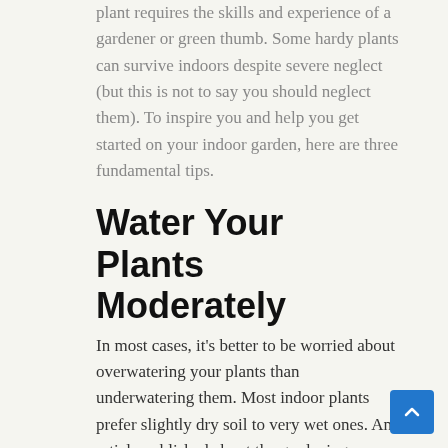plant requires the skills and experience of a gardener or green thumb. Some hardy plants can survive indoors despite severe neglect (but this is not to say you should neglect them). To inspire you and help you get started on your indoor garden, here are three fundamental tips.
Water Your Plants Moderately
In most cases, it's better to be worried about overwatering your plants than underwatering them. Most indoor plants prefer slightly dry soil to very wet ones. An article published about the gardening MasterClass of Ron Finley says that your primary goal should be to provide just enough water to keep the soil's moisture. You're not supposed to make the soil soggy.
The best way to make sure you don't overwater your plant is to pour water gradually directly into the potting soil until the water trickles out of the pot's drain holes. Most plants